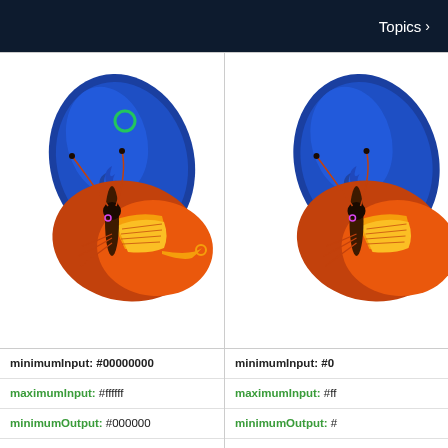Topics >
[Figure (illustration): Colorful butterfly illustration with blue upper wing and orange/yellow lower wing, shown in side profile. Green circle mark on upper wing tip.]
[Figure (illustration): Partial view of same butterfly illustration cropped on the right side, showing blue upper wing and orange lower wing.]
| Property | Value | Property2 | Value2 |
| --- | --- | --- | --- |
| minimumInput: | #00000000 | minimumInput: | #0... |
| maximumInput: | #ffffff | maximumInput: | #ff... |
| minimumOutput: | #000000 | minimumOutput: | #... |
| maximumOutput: | #ffffff | maximumOutput: | #... |
| gamma: | Qt.vector3d(1.0, 1.0, 1.0) | gamma: | Qt.vector3... |